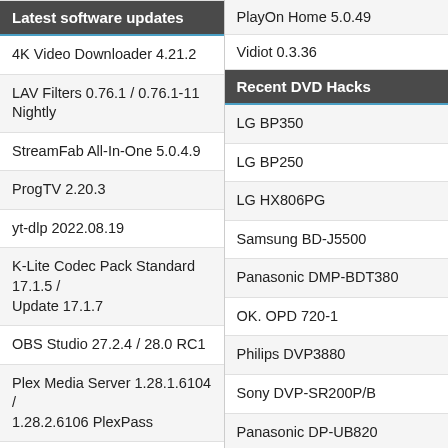PlayOn Home 5.0.49
Vidiot 0.3.36
Latest software updates
Recent DVD Hacks
4K Video Downloader 4.21.2
LG BP350
LAV Filters 0.76.1 / 0.76.1-11 Nightly
LG BP250
StreamFab All-In-One 5.0.4.9
LG HX806PG
ProgTV 2.20.3
Samsung BD-J5500
yt-dlp 2022.08.19
Panasonic DMP-BDT380
K-Lite Codec Pack Standard 17.1.5 / Update 17.1.7
OK. OPD 720-1
OBS Studio 27.2.4 / 28.0 RC1
Philips DVP3880
Plex Media Server 1.28.1.6104 / 1.28.2.6106 PlexPass
Sony DVP-SR200P/B
Free Download Manager 6.17.0
Panasonic DP-UB820
AnyStream 1.4.1.0
GoVideo DVR4100
Policy  About  Advertise  For
Affiliates: free-codecs.com
©1999-2022 videohelp.com